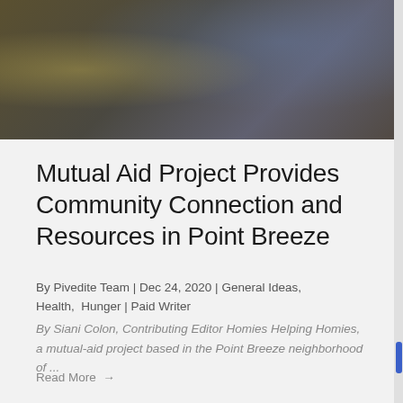[Figure (photo): Group of people sitting together, partially visible, with bags of food/supplies in the foreground. Dark/muted tones.]
Mutual Aid Project Provides Community Connection and Resources in Point Breeze
By Pivedite Team | Dec 24, 2020 | General Ideas, Health,  Hunger | Paid Writer
By Siani Colon, Contributing Editor Homies Helping Homies, a mutual-aid project based in the Point Breeze neighborhood of ...
Read More →